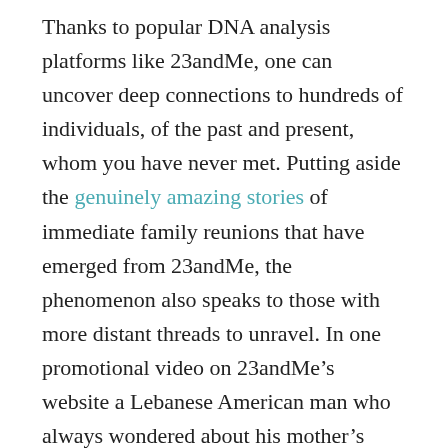Thanks to popular DNA analysis platforms like 23andMe, one can uncover deep connections to hundreds of individuals, of the past and present, whom you have never met. Putting aside the genuinely amazing stories of immediate family reunions that have emerged from 23andMe, the phenomenon also speaks to those with more distant threads to unravel. In one promotional video on 23andMe’s website a Lebanese American man who always wondered about his mother’s gray eyes and his love for Martin Scorsese movies is astounded to learn that he is 9 percent Italian. In that same report he finds some Ashkenazi Jewish heritage as well, a discovery he suggests might hold some promise for peace in the Middle East.